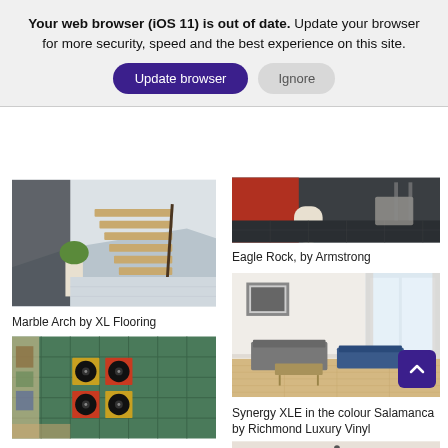Your web browser (iOS 11) is out of date. Update your browser for more security, speed and the best experience on this site.
[Figure (screenshot): Cropped room interior with dark tile flooring - Eagle Rock by Armstrong]
Eagle Rock, by Armstrong
[Figure (photo): Modern interior with floating staircase and light wood flooring - Marble Arch by XL Flooring]
Marble Arch by XL Flooring
[Figure (photo): Contemporary living room with light oak hardwood flooring - Synergy XLE Salamanca]
Synergy XLE in the colour Salamanca by Richmond Luxury Vinyl
[Figure (photo): Green tile wall with vinyl records and warm interior]
[Figure (photo): Partially visible bottom image]